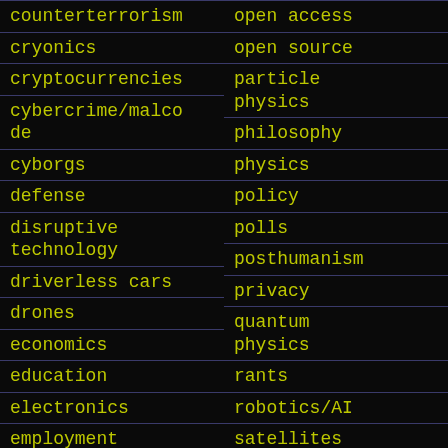counterterrorism
open access
cryonics
open source
cryptocurrencies
particle physics
cybercrime/malcode
philosophy
cyborgs
physics
defense
policy
disruptive technology
polls
driverless cars
posthumanism
drones
privacy
economics
quantum physics
education
rants
electronics
robotics/AI
employment
satellites
encryption
science
energy
scientific freedom
engineering
security
entertainment
sex